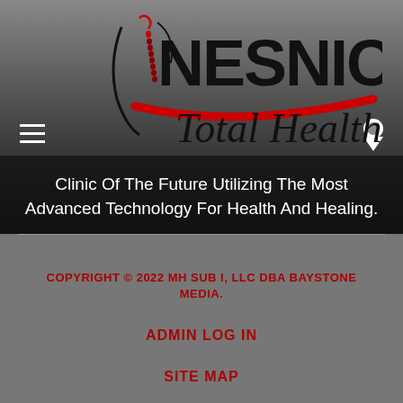[Figure (logo): Nesnick Total Health logo with spine/figure graphic in red and black, large bold NESNICK text with italic Total Health below, red swoosh underline]
Clinic Of The Future Utilizing The Most Advanced Technology For Health And Healing.
COPYRIGHT © 2022 MH SUB I, LLC DBA BAYSTONE MEDIA.
ADMIN LOG IN
SITE MAP